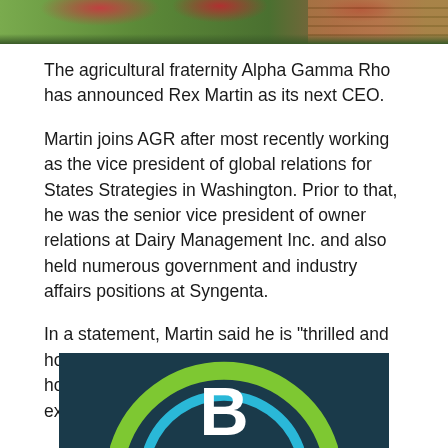[Figure (photo): Top banner image showing flowering bushes and a brick wall or building in the background, outdoor scene with green foliage]
The agricultural fraternity Alpha Gamma Rho has announced Rex Martin as its next CEO.
Martin joins AGR after most recently working as the vice president of global relations for States Strategies in Washington. Prior to that, he was the senior vice president of owner relations at Dairy Management Inc. and also held numerous government and industry affairs positions at Syngenta.
In a statement, Martin said he is "thrilled and honored to be chosen to lead AGR" and hopes to build on the spirit of congeniality he experienced as a member.
[Figure (logo): Logo with a dark teal/navy background featuring a large white letter B and green and blue arc shapes forming a circular design]